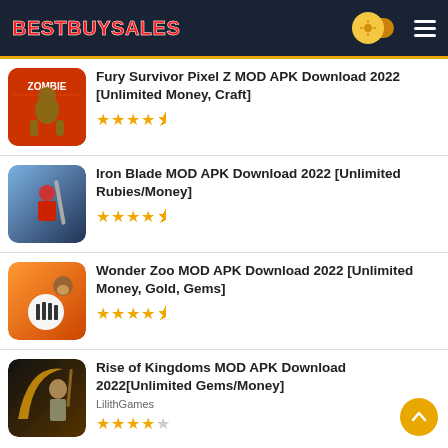BestBuySales
Fury Survivor Pixel Z MOD APK Download 2022 [Unlimited Money, Craft] ★★★★½
Iron Blade MOD APK Download 2022 [Unlimited Rubies/Money] ★★★★½
Wonder Zoo MOD APK Download 2022 [Unlimited Money, Gold, Gems] ★★★★½
Rise of Kingdoms MOD APK Download 2022[Unlimited Gems/Money] LilithGames ★★★★½